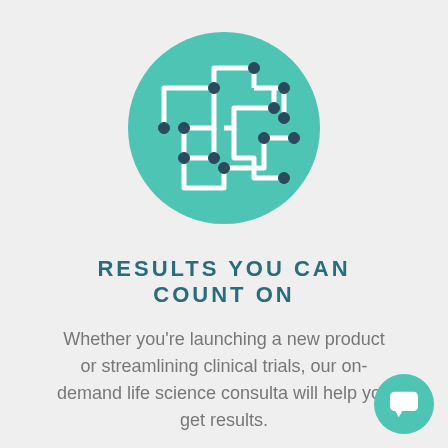[Figure (illustration): Circular teal icon depicting a stylized circuit board / network diagram with interconnected lines and nodes on a teal background]
RESULTS YOU CAN COUNT ON
Whether you're launching a new product or streamlining clinical trials, our on-demand life science consulta will help you get results.